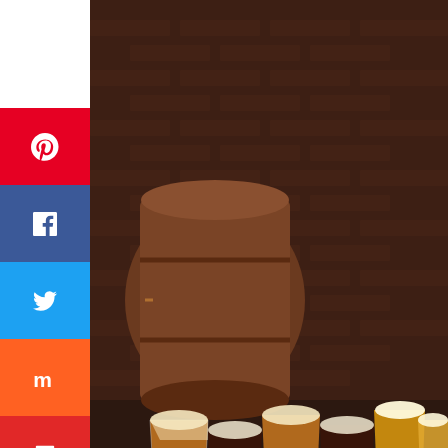[Figure (photo): Six glasses of beer arranged on a wooden board in front of a wooden barrel and brick wall background, with scattered peanuts and hops]
WHAT'S NEXT → Vermont in the Fall Travel...
Harpoon Brewery and Sam Adams Boston
Ashburn OPEN | 8AM–9PM 44175 Ashbrook Marketplace Plaza,